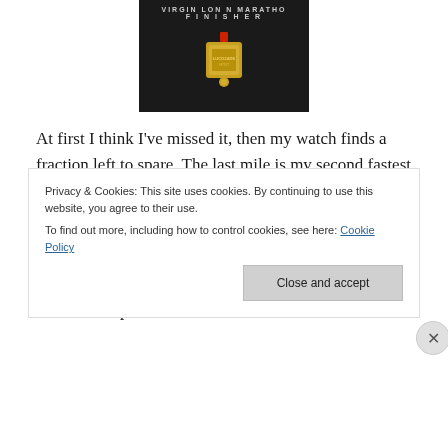[Figure (photo): Photo of a Virgin London Marathon Finisher medal against a dark background with 'FINISHER' text visible]
At first I think I've missed it, then my watch finds a fraction left to spare. The last mile is my second fastest of the day, slower only than my first. I've run every single step today, in 4:29 all told.
I wait for James at the finish, and then we stagger off our different ways. I find Emma and Olivia for a hug and another picture with that medal.
Privacy & Cookies: This site uses cookies. By continuing to use this website, you agree to their use.
To find out more, including how to control cookies, see here: Cookie Policy